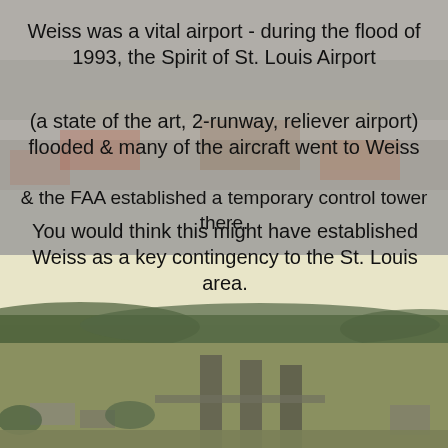[Figure (photo): Faded/muted background photo collage of airshow or crowd event at top portion of page]
Weiss was a vital airport - during the flood of 1993, the Spirit of St. Louis Airport
(a state of the art, 2-runway, reliever airport) flooded & many of the aircraft went to Weiss
& the FAA established a temporary control tower there.
You would think this might have established Weiss as a key contingency to the St. Louis area.
[Figure (photo): Aerial photograph of Weiss Airport showing two parallel runways, surrounding trees and hills in the background with a pale sky]